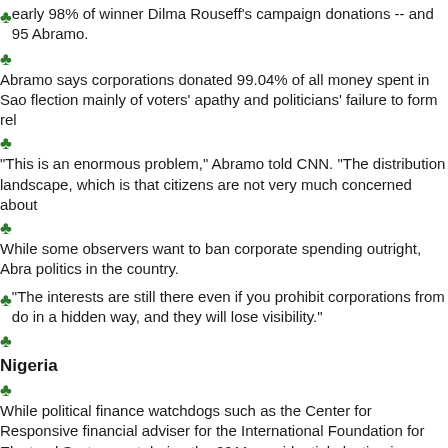Nearly 98% of winner Dilma Rouseff's campaign donations -- and 95 Abramo.
Abramo says corporations donated 99.04% of all money spent in Sao flection mainly of voters' apathy and politicians' failure to form rel
This is an enormous problem," Abramo told CNN. "The distribution landscape, which is that citizens are not very much concerned about
While some observers want to ban corporate spending outright, Abra politics in the country.
The interests are still there even if you prohibit corporations from do in a hidden way, and they will lose visibility."
Nigeria
While political finance watchdogs such as the Center for Responsive financial adviser for the International Foundation for Electoral Syste spent during the 2011 presidential election in Nigeria.
While Nigerian law gives the country's election commission the righ neglected to do so before the 2011 election, according to Magnus Oh
"Parties can do whatever they want, there's no limit to the amount the money they get from their parties is excluded from that limit."